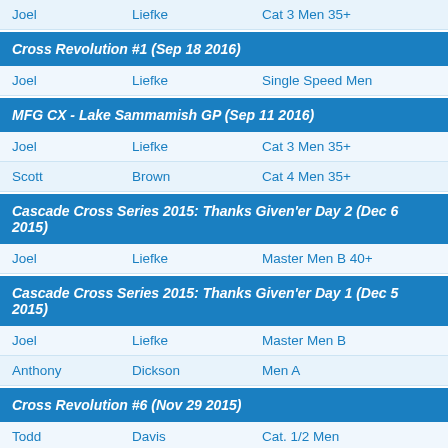| First | Last | Category |
| --- | --- | --- |
| Joel | Liefke | Cat 3 Men 35+ |
| Cross Revolution #1 (Sep 18 2016) |  |  |
| Joel | Liefke | Single Speed Men |
| MFG CX - Lake Sammamish GP (Sep 11 2016) |  |  |
| Joel | Liefke | Cat 3 Men 35+ |
| Scott | Brown | Cat 4 Men 35+ |
| Cascade Cross Series 2015: Thanks Given'er Day 2 (Dec 6 2015) |  |  |
| Joel | Liefke | Master Men B 40+ |
| Cascade Cross Series 2015: Thanks Given'er Day 1 (Dec 5 2015) |  |  |
| Joel | Liefke | Master Men B |
| Anthony | Dickson | Men A |
| Cross Revolution #6 (Nov 29 2015) |  |  |
| Todd | Davis | Cat. 1/2 Men |
| MFG CX - Woodland Park (Nov 22 2015) |  |  |